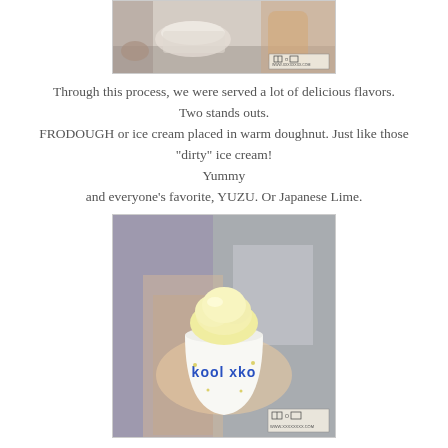[Figure (photo): Top portion of a photo showing hands and bowls of ice cream at a tasting event, with a small watermark logo in the bottom right corner.]
Through this process, we were served a lot of delicious flavors.
Two stands outs.
FRODOUGH or ice cream placed in warm doughnut. Just like those "dirty" ice cream!
Yummy
and everyone's favorite, YUZU. Or Japanese Lime.
[Figure (photo): A person holding a white paper cup labeled 'Kool xko' filled with pale yellow yuzu ice cream/sorbet. Small watermark logo in bottom right corner.]
Citrusy. Almost like a kalamsi sorbet to wipe all the flavors in your mouth.